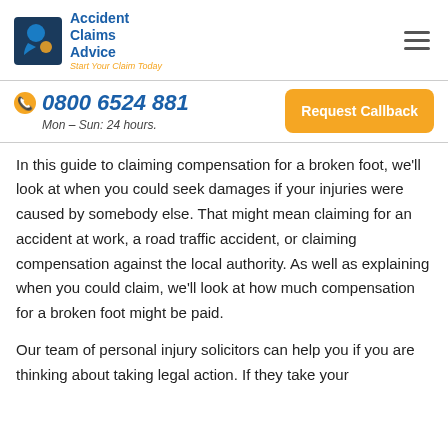Accident Claims Advice – Start Your Claim Today
0800 6524 881
Mon – Sun: 24 hours.
Request Callback
In this guide to claiming compensation for a broken foot, we'll look at when you could seek damages if your injuries were caused by somebody else. That might mean claiming for an accident at work, a road traffic accident, or claiming compensation against the local authority. As well as explaining when you could claim, we'll look at how much compensation for a broken foot might be paid.
Our team of personal injury solicitors can help you if you are thinking about taking legal action. If they take your